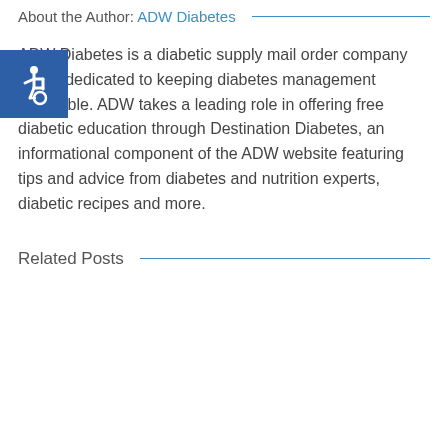About the Author: ADW Diabetes
[Figure (logo): Blue accessibility icon with wheelchair symbol]
ADW Diabetes is a diabetic supply mail order company that is dedicated to keeping diabetes management affordable. ADW takes a leading role in offering free diabetic education through Destination Diabetes, an informational component of the ADW website featuring tips and advice from diabetes and nutrition experts, diabetic recipes and more.
Related Posts